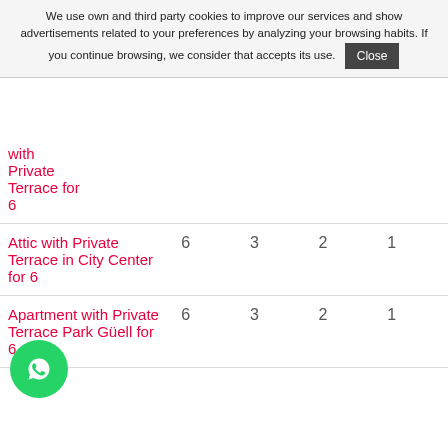We use own and third party cookies to improve our services and show advertisements related to your preferences by analyzing your browsing habits. If you continue browsing, we consider that accepts its use. Close
| Name | Guests | Bedrooms | Bathrooms | Price |
| --- | --- | --- | --- | --- |
| with Private Terrace for 6 |  |  |  |  |
| Attic with Private Terrace in City Center for 6 | 6 | 3 | 2 | 1 |
| Apartment with Private Terrace Park Güell for 6 | 6 | 3 | 2 | 1 |